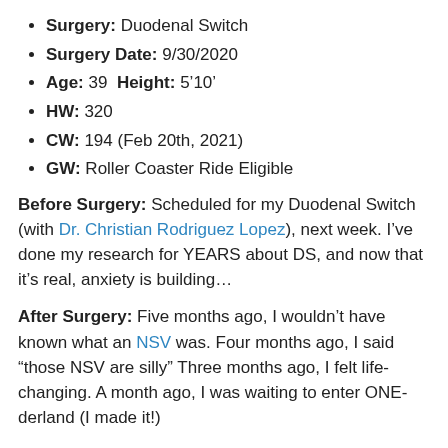Surgery: Duodenal Switch
Surgery Date: 9/30/2020
Age: 39  Height: 5’10’
HW: 320
CW: 194 (Feb 20th, 2021)
GW: Roller Coaster Ride Eligible
Before Surgery: Scheduled for my Duodenal Switch (with Dr. Christian Rodriguez Lopez), next week. I’ve done my research for YEARS about DS, and now that it’s real, anxiety is building…
After Surgery: Five months ago, I wouldn’t have known what an NSV was. Four months ago, I said “those NSV are silly” Three months ago, I felt life-changing. A month ago, I was waiting to enter ONE-derland (I made it!)